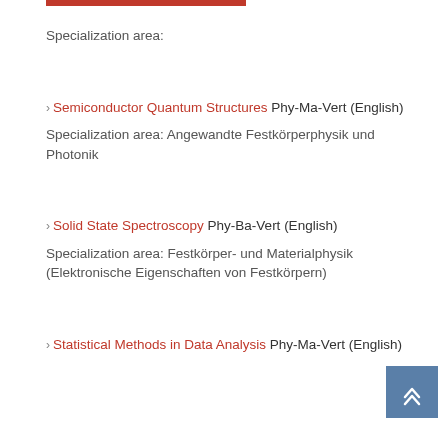Specialization area:
> Semiconductor Quantum Structures Phy-Ma-Vert (English)
Specialization area: Angewandte Festkörperphysik und Photonik
> Solid State Spectroscopy Phy-Ba-Vert (English)
Specialization area: Festkörper- und Materialphysik (Elektronische Eigenschaften von Festkörpern)
> Statistical Methods in Data Analysis Phy-Ma-Vert (English)